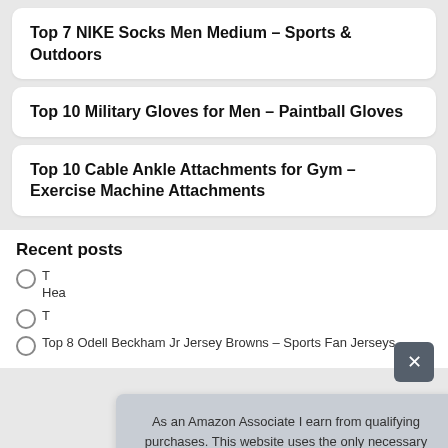Top 7 NIKE Socks Men Medium – Sports & Outdoors
Top 10 Military Gloves for Men – Paintball Gloves
Top 10 Cable Ankle Attachments for Gym – Exercise Machine Attachments
Recent posts
T... Hea...
T...
Top 8 Odell Beckham Jr Jersey Browns – Sports Fan Jerseys
As an Amazon Associate I earn from qualifying purchases. This website uses the only necessary cookies to ensure you get the best experience on our website. More information